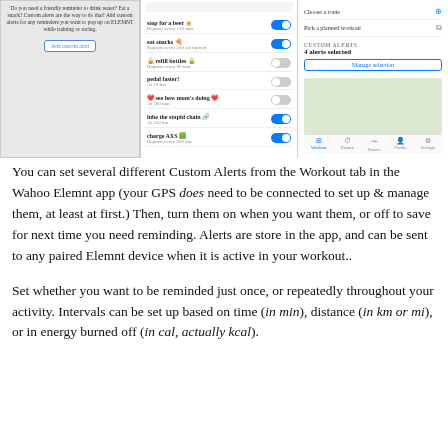[Figure (screenshot): Three screenshots from the Wahoo Elemnt app showing custom alerts interface: left panel shows instructions for adding custom alerts with an 'Add custom alert' button; middle panel shows a list of custom alerts including 'stop for a beer', 'eat snacks', 'refill bottles', 'pedal faster!', 'see how mom's doing', 'lube the stupid chain', 'charge AXS' with toggle switches; right panel shows route selection, planned workout, custom alerts section showing '4 alerts selected' with 'Manage selection' button, a map view, and a bottom tab bar.]
You can set several different Custom Alerts from the Workout tab in the Wahoo Elemnt app (your GPS does need to be connected to set up & manage them, at least at first.) Then, turn them on when you want them, or off to save for next time you need reminding. Alerts are store in the app, and can be sent to any paired Elemnt device when it is active in your workout..
Set whether you want to be reminded just once, or repeatedly throughout your activity. Intervals can be set up based on time (in min), distance (in km or mi), or in energy burned off (in cal, actually kcal).